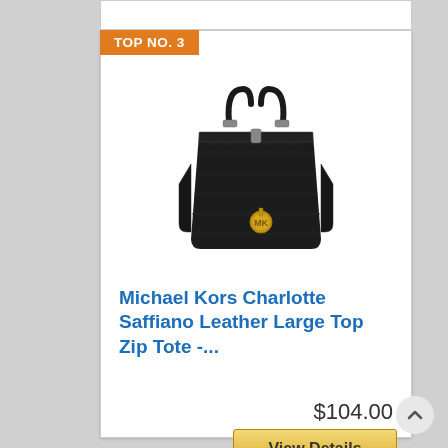TOP NO. 3
[Figure (photo): Black Michael Kors Charlotte Saffiano Leather Large Top Zip Tote handbag with gold hardware and MK medallion charm]
Michael Kors Charlotte Saffiano Leather Large Top Zip Tote -...
$104.00
View Details